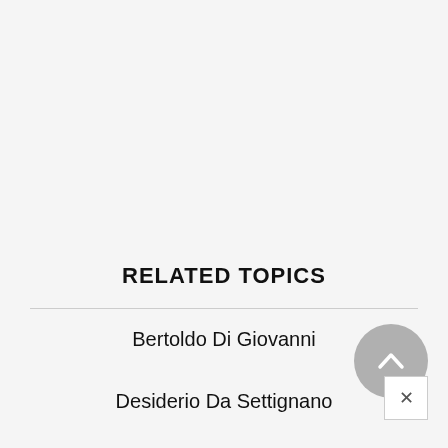RELATED TOPICS
Bertoldo Di Giovanni
Desiderio Da Settignano
Padua
Andrea Del Castagno